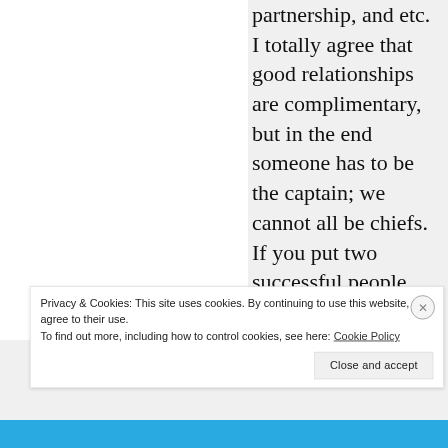partnership, and etc. I totally agree that good relationships are complimentary, but in the end someone has to be the captain; we cannot all be chiefs. If you put two successful people together that are constantly striving for individual success, you have the classic ‘paper-power’ couple. You know the type,
Privacy & Cookies: This site uses cookies. By continuing to use this website, you agree to their use.
To find out more, including how to control cookies, see here: Cookie Policy
Close and accept